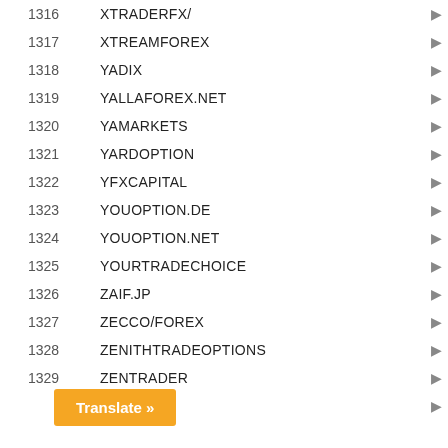| # | Name |  |
| --- | --- | --- |
| 1316 | XTRADERFX/ | ▶ |
| 1317 | XTREAMFOREX | ▶ |
| 1318 | YADIX | ▶ |
| 1319 | YALLAFOREX.NET | ▶ |
| 1320 | YAMARKETS | ▶ |
| 1321 | YARDOPTION | ▶ |
| 1322 | YFXCAPITAL | ▶ |
| 1323 | YOUOPTION.DE | ▶ |
| 1324 | YOUOPTION.NET | ▶ |
| 1325 | YOURTRADECHOICE | ▶ |
| 1326 | ZAIF.JP | ▶ |
| 1327 | ZECCO/FOREX | ▶ |
| 1328 | ZENITHTRADEOPTIONS | ▶ |
| 1329 | ZENTRADER | ▶ |
|  | …EU | ▶ |
Translate »